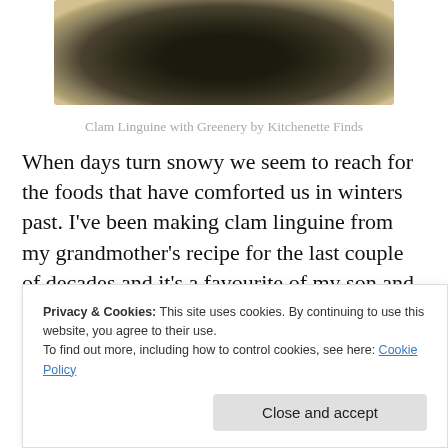[Figure (photo): Top-down photo of a dark bowl containing clam linguine with green herbs and grated cheese on a light wooden surface]
Clam Linguine with Greenery by Kitchenette Finds
When days turn snowy we seem to reach for the foods that have comforted us in winters past. I've been making clam linguine from my grandmother's recipe for the last couple of decades and it's a favourite of my son and my best friend, two of the most important people in my life.
Privacy & Cookies: This site uses cookies. By continuing to use this website, you agree to their use.
To find out more, including how to control cookies, see here: Cookie Policy
that made them staples at our table.